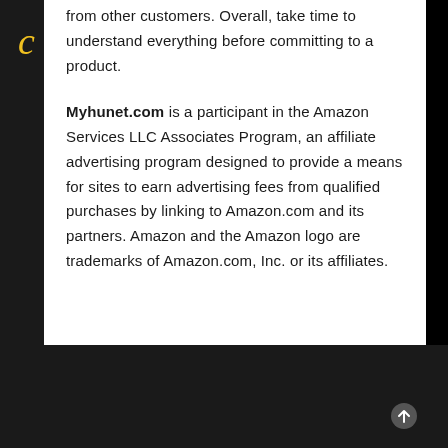from other customers. Overall, take time to understand everything before committing to a product.
Myhunet.com is a participant in the Amazon Services LLC Associates Program, an affiliate advertising program designed to provide a means for sites to earn advertising fees from qualified purchases by linking to Amazon.com and its partners. Amazon and the Amazon logo are trademarks of Amazon.com, Inc. or its affiliates.